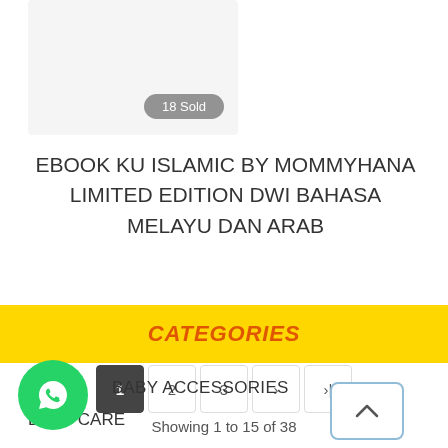[Figure (photo): Product image area with grey background showing '18 Sold' badge]
EBOOK KU ISLAMIC BY MOMMYHANA LIMITED EDITION DWI BAHASA MELAYU DAN ARAB
1  2  3  >  >|
Showing 1 to 15 of 38
CATEGORIES
[Figure (logo): WhatsApp green circle button with phone icon]
BABY ACCESSORIES
BABY CARE